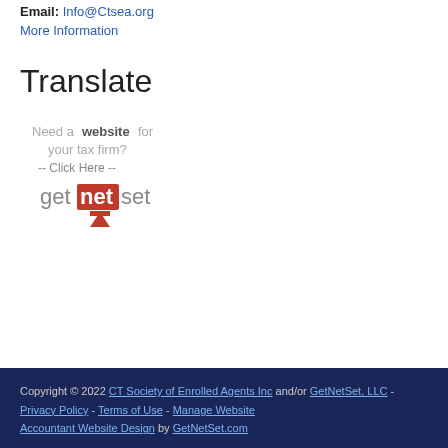Email: Info@Ctsea.org
More Information
Translate
[Figure (illustration): GetNetSet advertisement banner: 'Need a website for your tax firm? -- Click Here --' with GetNetSet logo]
Copyright © 2022 CT Society of Enrolled Agents Inc and/or GetNetSet, LLC - Privacy Policy - Terms of Use - Manage Website
Accountant Website Design by GetNetSet.com